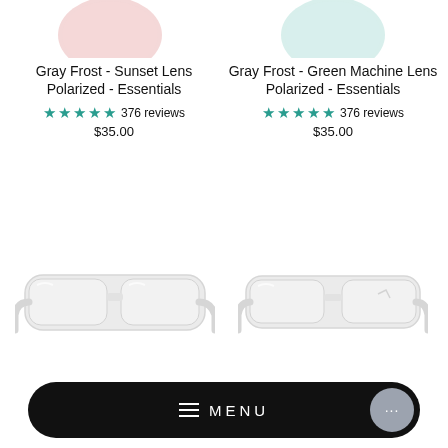[Figure (photo): Partial view of sunglasses lens - Gray Frost Sunset Lens, pink/light tinted, top of product image]
[Figure (photo): Partial view of sunglasses lens - Gray Frost Green Machine Lens, light blue/green tinted, top of product image]
Gray Frost - Sunset Lens Polarized - Essentials
★★★★★ 376 reviews
$35.00
Gray Frost - Green Machine Lens Polarized - Essentials
★★★★★ 376 reviews
$35.00
[Figure (photo): White/gray frosted sunglasses full product photo, left column]
[Figure (photo): White/gray frosted sunglasses full product photo, right column]
Essentials
Essentials
[Figure (screenshot): Black pill-shaped menu bar with hamburger icon and MENU text and chat button]